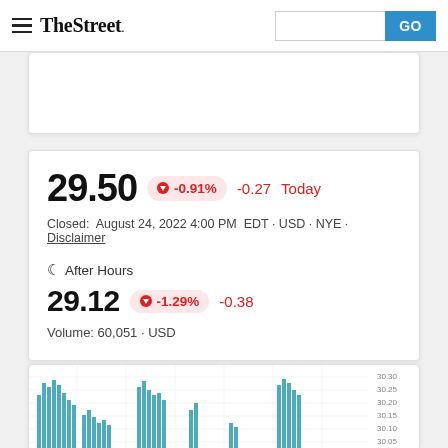TheStreet
29.50  -0.91%  -0.27  Today
Closed:  August 24, 2022 4:00 PM  EDT · USD · NYE · Disclaimer
After Hours
29.12  -1.29%  -0.38
Volume: 60,051 · USD
[Figure (continuous-plot): Intraday price chart showing stock price movement between approximately 30.05 and 30.30, with teal/blue bar-style chart area]